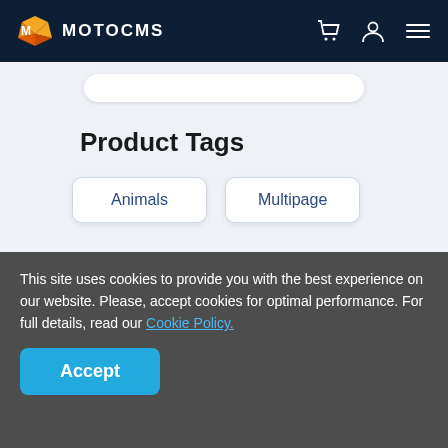MOTOCMS
Product Tags
Animals
Multipage
This site uses cookies to provide you with the best experience on our website. Please, accept cookies for optimal performance. For full details, read our Cookie Policy.
Accept